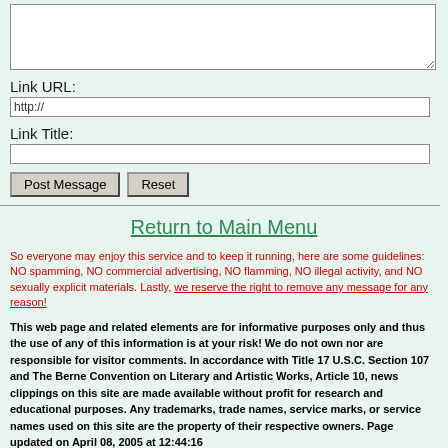[Figure (screenshot): Text area input box (form element) at the top of page]
Link URL:
[Figure (screenshot): Input field pre-filled with http://]
Link Title:
[Figure (screenshot): Empty input field for link title]
[Figure (screenshot): Post Message and Reset buttons]
Return to Main Menu
So everyone may enjoy this service and to keep it running, here are some guidelines: NO spamming, NO commercial advertising, NO flamming, NO illegal activity, and NO sexually explicit materials. Lastly, we reserve the right to remove any message for any reason!
This web page and related elements are for informative purposes only and thus the use of any of this information is at your risk! We do not own nor are responsible for visitor comments. In accordance with Title 17 U.S.C. Section 107 and The Berne Convention on Literary and Artistic Works, Article 10, news clippings on this site are made available without profit for research and educational purposes. Any trademarks, trade names, service marks, or service names used on this site are the property of their respective owners. Page updated on April 08, 2005 at 12:44:16